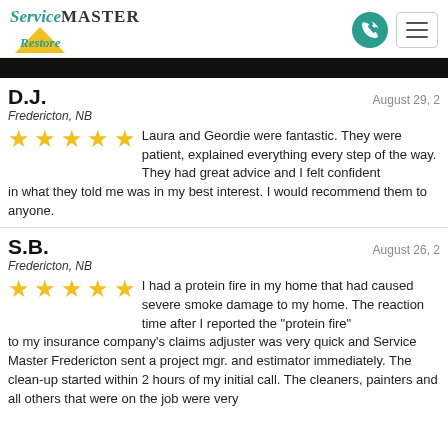[Figure (logo): ServiceMaster Restore logo with teal text and yellow triangle]
D.J.
August 29, 2
Fredericton, NB
Laura and Geordie were fantastic. They were patient, explained everything every step of the way. They had great advice and I felt confident in what they told me was in my best interest. I would recommend them to anyone.
S.B.
August 26, 2
Fredericton, NB
I had a protein fire in my home that had caused severe smoke damage to my home. The reaction time after I reported the "protein fire" to my insurance company's claims adjuster was very quick and Service Master Fredericton sent a project mgr. and estimator immediately. The clean-up started within 2 hours of my initial call. The cleaners, painters and all others that were on the job were very